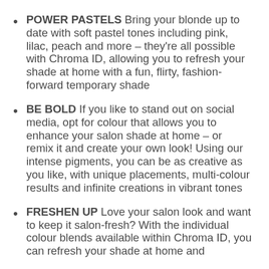POWER PASTELS Bring your blonde up to date with soft pastel tones including pink, lilac, peach and more – they're all possible with Chroma ID, allowing you to refresh your shade at home with a fun, flirty, fashion-forward temporary shade
BE BOLD If you like to stand out on social media, opt for colour that allows you to enhance your salon shade at home – or remix it and create your own look! Using our intense pigments, you can be as creative as you like, with unique placements, multi-colour results and infinite creations in vibrant tones
FRESHEN UP Love your salon look and want to keep it salon-fresh? With the individual colour blends available within Chroma ID, you can refresh your shade at home and